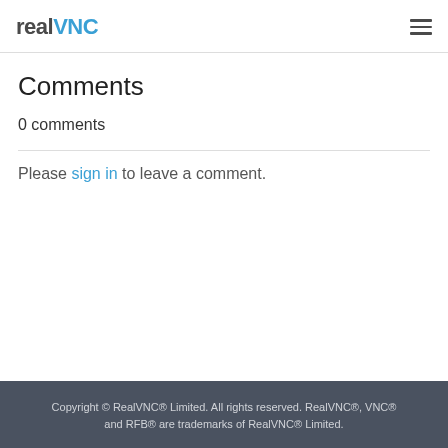RealVNC
Comments
0 comments
Please sign in to leave a comment.
Copyright © RealVNC® Limited. All rights reserved. RealVNC®, VNC® and RFB® are trademarks of RealVNC® Limited.